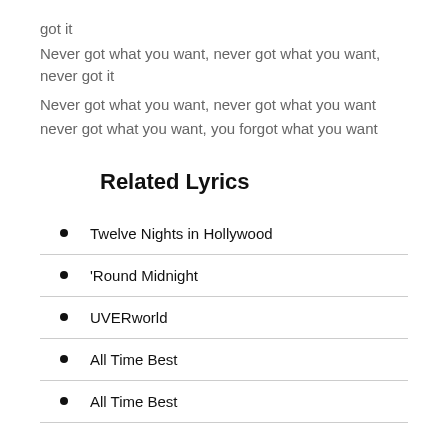got it
Never got what you want, never got what you want, never got it
Never got what you want, never got what you want
never got what you want, you forgot what you want
Related Lyrics
Twelve Nights in Hollywood
'Round Midnight
UVERworld
All Time Best
All Time Best